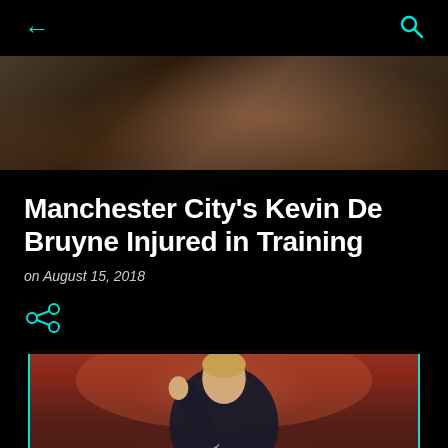← (back) | Q (search)
[Figure (photo): Blurred background photo of a football/soccer stadium or crowd, dark reddish-brown tones]
Manchester City's Kevin De Bruyne Injured in Training
on August 15, 2018
[Figure (illustration): Share icon (three dots connected)]
[Figure (photo): Photo of Kevin De Bruyne in Manchester City dark away kit, raising his fist, with blurred red crowd background]